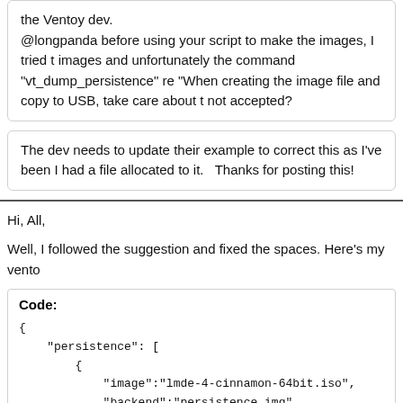the Ventoy dev.

@longpanda before using your script to make the images, I tried t images and unfortunately the command "vt_dump_persistence" r "When creating the image file and copy to USB, take care about t not accepted?
The dev needs to update their example to correct this as I've been I had a file allocated to it.   Thanks for posting this!
Hi, All,
Well, I followed the suggestion and fixed the spaces. Here's my vento
Code:
{
    "persistence": [
        {
            "image":"lmde-4-cinnamon-64bit.iso",
            "backend":"persistence.img"